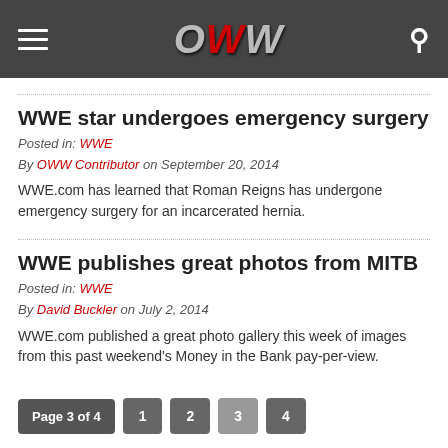OWW site header with hamburger menu, OWW logo, and search icon
WWE star undergoes emergency surgery
Posted in: WWE
By OWW Contributor on September 20, 2014
WWE.com has learned that Roman Reigns has undergone emergency surgery for an incarcerated hernia.
WWE publishes great photos from MITB
Posted in: WWE
By David Buckler on July 2, 2014
WWE.com published a great photo gallery this week of images from this past weekend's Money in the Bank pay-per-view.
Page 3 of 4  1  2  3  4